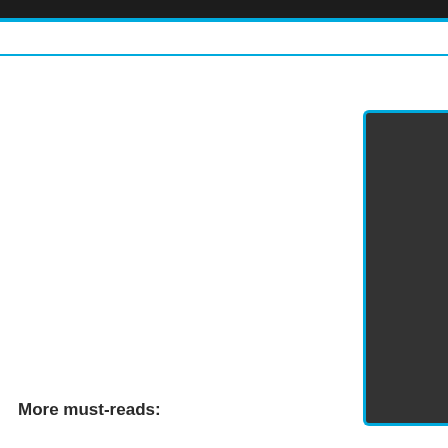[Figure (other): Dark rectangular box with blue border on left, top, and bottom edges, positioned at far right of page]
More must-reads: